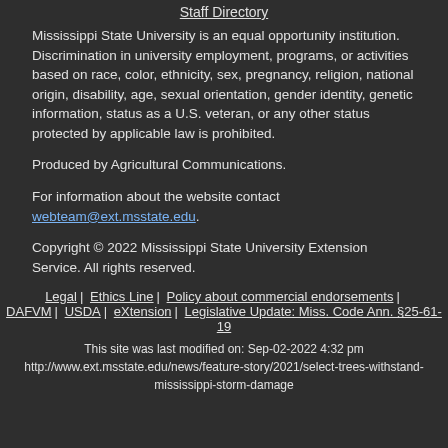Staff Directory
Mississippi State University is an equal opportunity institution. Discrimination in university employment, programs, or activities based on race, color, ethnicity, sex, pregnancy, religion, national origin, disability, age, sexual orientation, gender identity, genetic information, status as a U.S. veteran, or any other status protected by applicable law is prohibited.
Produced by Agricultural Communications.
For information about the website contact webteam@ext.msstate.edu.
Copyright © 2022 Mississippi State University Extension Service. All rights reserved.
Legal | Ethics Line | Policy about commercial endorsements | DAFVM | USDA | eXtension | Legislative Update: Miss. Code Ann. §25-61-19
This site was last modified on: Sep-02-2022 4:32 pm
http://www.ext.msstate.edu/news/feature-story/2021/select-trees-withstand-mississippi-storm-damage